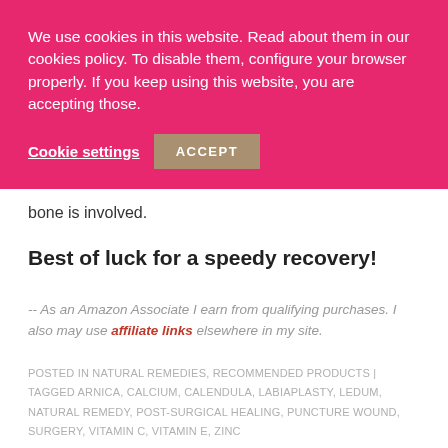We use cookies in this website. Read about them in our cookies policy. To disable them, configure your browser properly. If you keep using this website, you are accepting those.
Cookie settings  ACCEPT
bone is involved.
Best of luck for a speedy recovery!
-- As an Amazon Associate I earn from qualifying purchases. I also may use affiliate links elsewhere in my site.
POSTED IN NATURAL REMEDIES, RECOMMENDED PRODUCTS | TAGGED ARNICA, CALCIUM, CALENDULA, LABIAPLASTY, LEDUM, NATURAL REMEDY, POST-SURGICAL HEALING, PUNCTURE WOUND, SURGERY, VITAMIN C, VITAMIN E, ZINC